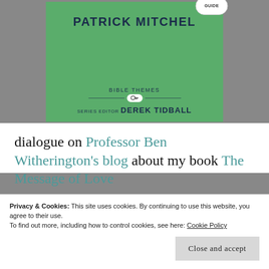[Figure (illustration): Book cover with green background showing 'PATRICK MITCHEL' author name, 'BIBLE THEMES' series, a key logo, 'SERIES EDITOR DEREK TIDBALL' and a 'GUIDE' badge in the top right corner.]
dialogue on Professor Ben Witherington's blog about my book The Message of Love
Privacy & Cookies: This site uses cookies. By continuing to use this website, you agree to their use.
To find out more, including how to control cookies, see here: Cookie Policy